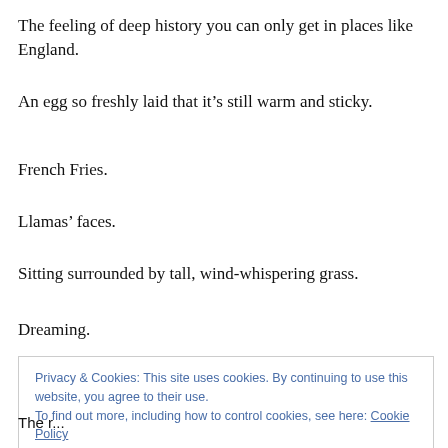The feeling of deep history you can only get in places like England.
An egg so freshly laid that it’s still warm and sticky.
French Fries.
Llamas’ faces.
Sitting surrounded by tall, wind-whispering grass.
Dreaming.
Privacy & Cookies: This site uses cookies. By continuing to use this website, you agree to their use.
To find out more, including how to control cookies, see here: Cookie Policy
Close and accept
The r...